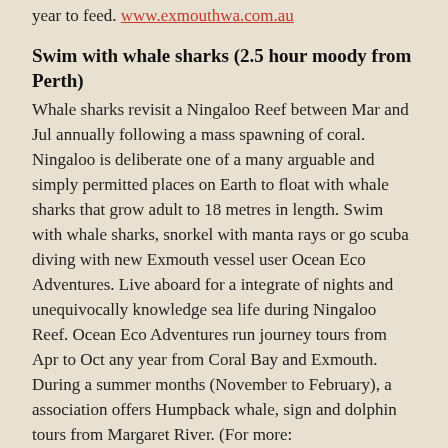year to feed. www.exmouthwa.com.au
Swim with whale sharks (2.5 hour moody from Perth)
Whale sharks revisit a Ningaloo Reef between Mar and Jul annually following a mass spawning of coral. Ningaloo is deliberate one of a many arguable and simply permitted places on Earth to float with whale sharks that grow adult to 18 metres in length. Swim with whale sharks, snorkel with manta rays or go scuba diving with new Exmouth vessel user Ocean Eco Adventures. Live aboard for a integrate of nights and unequivocally knowledge sea life during Ningaloo Reef. Ocean Eco Adventures run journey tours from Apr to Oct any year from Coral Bay and Exmouth. During a summer months (November to February), a association offers Humpback whale, sign and dolphin tours from Margaret River. (For more: